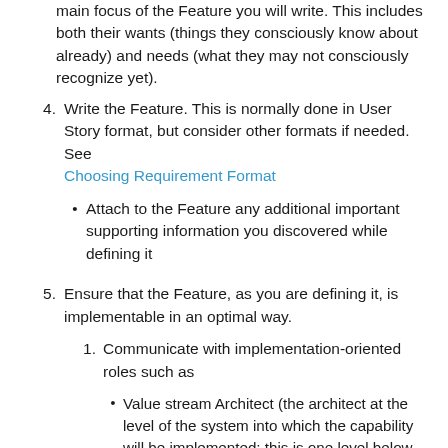(continuation) main focus of the Feature you will write. This includes both their wants (things they consciously know about already) and needs (what they may not consciously recognize yet).
4. Write the Feature. This is normally done in User Story format, but consider other formats if needed. See Choosing Requirement Format
Attach to the Feature any additional important supporting information you discovered while defining it
5. Ensure that the Feature, as you are defining it, is implementable in an optimal way.
1. Communicate with implementation-oriented roles such as
Value stream Architect (the architect at the level of the system into which the capability will be implemented; this is one level below the Chief or Enterprise Architect)
The Product Owner (if not already working with the PM on this)